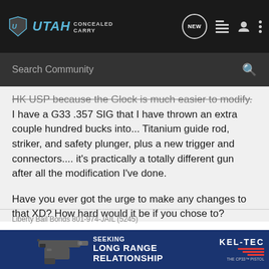Utah Concealed Carry — Search Community
HK USP because the Glock is much easier to modify. I have a G33 .357 SIG that I have thrown an extra couple hundred bucks into... Titanium guide rod, striker, and safety plunger, plus a new trigger and connectors.... it's practically a totally different gun after all the modification I've done.
Have you ever got the urge to make any changes to that XD? How hard would it be if you chose to?
Liberty Bail Bonds 801-974-JAIL (5245)
[Figure (advertisement): Kel-Tec CP33 pistol advertisement: 'SEEKING LONG RANGE RELATIONSHIP THE CP33 PISTOL' on dark blue background with pistol image]